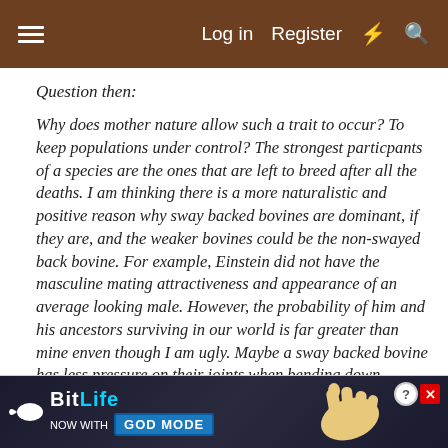Log in  Register
Question then:
Why does mother nature allow such a trait to occur? To keep populations under control? The strongest particpants of a species are the ones that are left to breed after all the deaths. I am thinking there is a more naturalistic and positive reason why sway backed bovines are dominant, if they are, and the weaker bovines could be the non-swayed back bovine. For example, Einstein did not have the masculine mating attractiveness and appearance of an average looking male. However, the probability of him and his ancestors surviving in our world is far greater than mine enven though I am ugly. Maybe a sway backed bovine has less pressure on their joints when bending down... rage during... e are...
[Figure (screenshot): BitLife advertisement banner with 'NOW WITH GOD MODE' text, sperm logo icon, hand pointing graphic, help and close buttons]